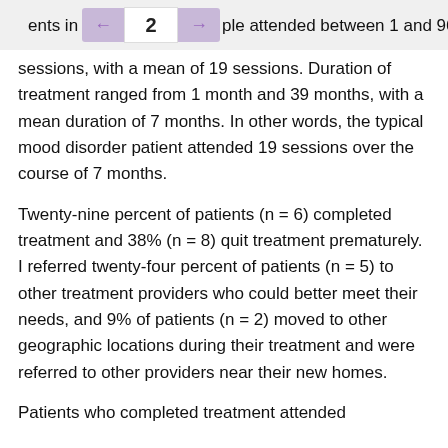← 2 →
ents in this ple attended between 1 and 96 sessions, with a mean of 19 sessions. Duration of treatment ranged from 1 month and 39 months, with a mean duration of 7 months. In other words, the typical mood disorder patient attended 19 sessions over the course of 7 months.
Twenty-nine percent of patients (n = 6) completed treatment and 38% (n = 8) quit treatment prematurely. I referred twenty-four percent of patients (n = 5) to other treatment providers who could better meet their needs, and 9% of patients (n = 2) moved to other geographic locations during their treatment and were referred to other providers near their new homes.
Patients who completed treatment attended between 1 and 96 sessions, with a mean of 96